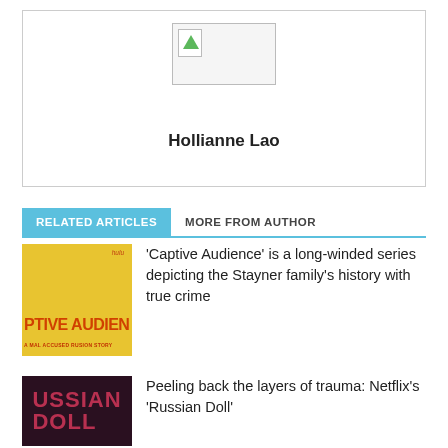[Figure (photo): Author profile box with placeholder image and name Hollianne Lao]
Hollianne Lao
RELATED ARTICLES    MORE FROM AUTHOR
[Figure (photo): Thumbnail image for Captive Audience article showing yellow book cover with orange text]
'Captive Audience' is a long-winded series depicting the Stayner family's history with true crime
[Figure (photo): Thumbnail image for Russian Doll article showing dark red cover]
Peeling back the layers of trauma: Netflix's 'Russian Doll'